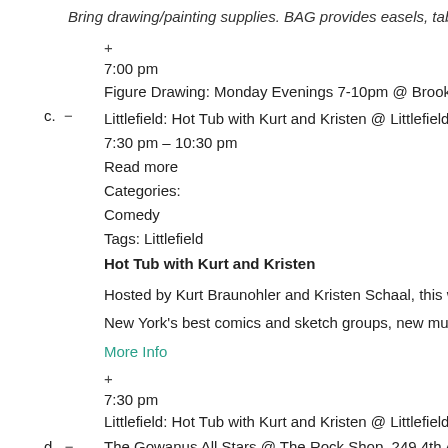Bring drawing/painting supplies. BAG provides easels, tables, and
+ 7:00 pm Figure Drawing: Monday Evenings 7-10pm @ Brooklyn Artists Gy
c. − Littlefield: Hot Tub with Kurt and Kristen @ Littlefield
7:30 pm – 10:30 pm
Read more
Categories:
Comedy
Tags: Littlefield
Hot Tub with Kurt and Kristen
Hosted by Kurt Braunohler and Kristen Schaal, this weekly variety
New York's best comics and sketch groups, new music, and the o
More Info
+ 7:30 pm Littlefield: Hot Tub with Kurt and Kristen @ Littlefield
d. − The Gowanus All Stars @ The Rock Shop, 249 4th Avenue, Br